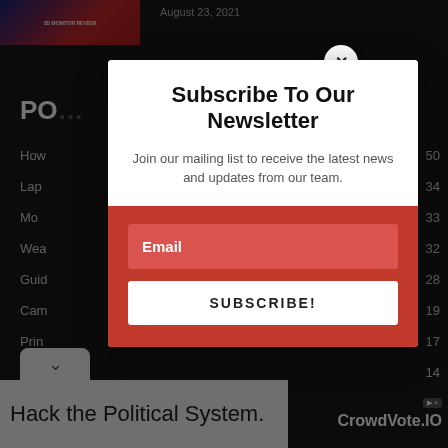[Figure (screenshot): Dark background webpage with partial content visible behind a newsletter subscription modal overlay.]
August 23, 2021
PO
How  50
Lap  34
Mo  33
Wea  32
Guid  28
Cam  19
Prin  17
Sma  14
Subscribe To Our Newsletter
Join our mailing list to receive the latest news and updates from our team.
Email
SUBSCRIBE!
Hack the Political System.
CrowdVote.IO